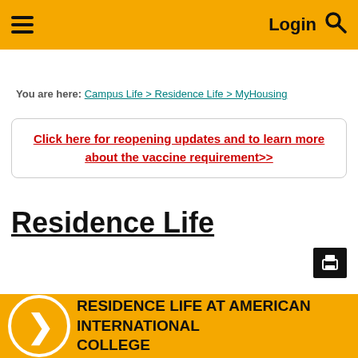≡  Login 🔍
You are here: Campus Life > Residence Life > MyHousing
Click here for reopening updates and to learn more about the vaccine requirement>>
Residence Life
[Figure (other): Print icon button]
RESIDENCE LIFE AT AMERICAN INTERNATIONAL COLLEGE